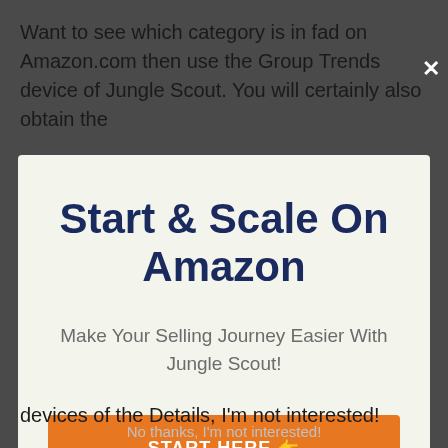Want to see which category is in fad on Amazon.com then use the Group Trends device of Jungle Scout. You will certainly also obtain the
×
Start & Scale On Amazon
Make Your Selling Journey Easier With Jungle Scout!
START HERE 👉
devices of the Details, I'm not interested!
No thanks, I'm not interested!